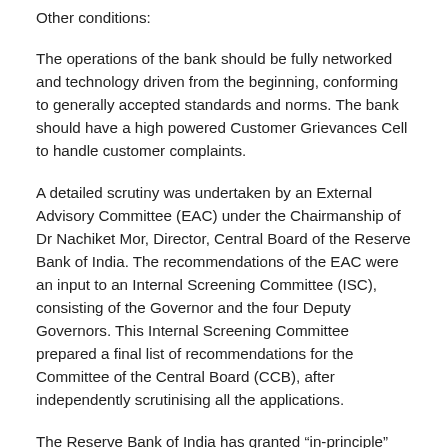Other conditions:
The operations of the bank should be fully networked and technology driven from the beginning, conforming to generally accepted standards and norms. The bank should have a high powered Customer Grievances Cell to handle customer complaints.
A detailed scrutiny was undertaken by an External Advisory Committee (EAC) under the Chairmanship of Dr Nachiket Mor, Director, Central Board of the Reserve Bank of India. The recommendations of the EAC were an input to an Internal Screening Committee (ISC), consisting of the Governor and the four Deputy Governors. This Internal Screening Committee prepared a final list of recommendations for the Committee of the Central Board (CCB), after independently scrutinising all the applications.
The Reserve Bank of India has granted “in-principle” approval to the following 11 applicants to set up payments banks under the Guidelines for Licensing of Payments